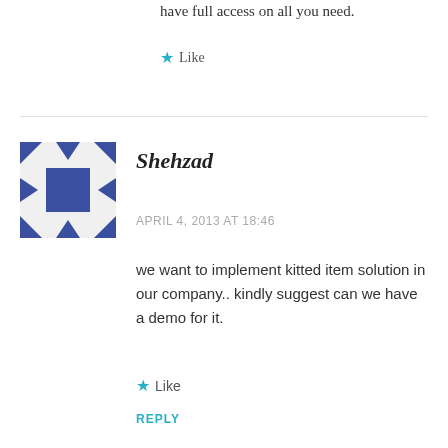have full access on all you need.
Like
Shehzad
APRIL 4, 2013 AT 18:46
we want to implement kitted item solution in our company.. kindly suggest can we have a demo for it.
Like
REPLY